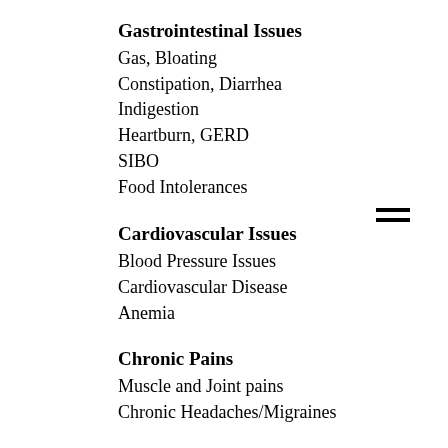Gastrointestinal Issues
Gas, Bloating
Constipation, Diarrhea
Indigestion
Heartburn, GERD
SIBO
Food Intolerances
Cardiovascular Issues
Blood Pressure Issues
Cardiovascular Disease
Anemia
Chronic Pains
Muscle and Joint pains
Chronic Headaches/Migraines
Vitamin and Mineral deficiencies